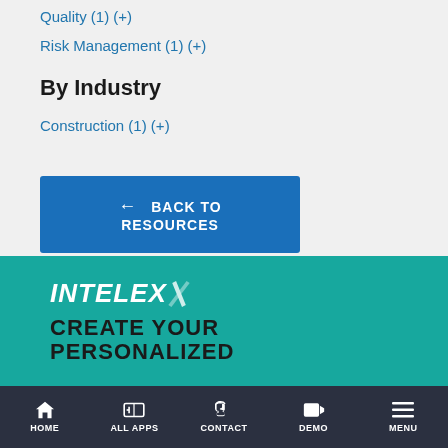Quality (1) (+)
Risk Management (1) (+)
By Industry
Construction (1) (+)
← BACK TO RESOURCES
[Figure (logo): Intelex logo and banner with teal background showing 'INTELEX' logo and text 'CREATE YOUR PERSONALIZED']
HOME | ALL APPS | CONTACT | DEMO | MENU